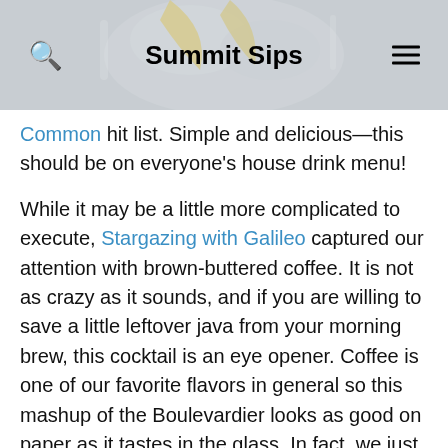Summit Sips
[Figure (photo): A close-up photo of a cocktail glass with ice and a yellow citrus garnish, shown behind the navigation bar area]
Common hit list. Simple and delicious—this should be on everyone's house drink menu!
While it may be a little more complicated to execute, Stargazing with Galileo captured our attention with brown-buttered coffee. It is not as crazy as it sounds, and if you are willing to save a little leftover java from your morning brew, this cocktail is an eye opener. Coffee is one of our favorite flavors in general so this mashup of the Boulevardier looks as good on paper as it tastes in the glass. In fact, we just mixed up another batch of buttered coffee to enjoy more of these, and you should too.